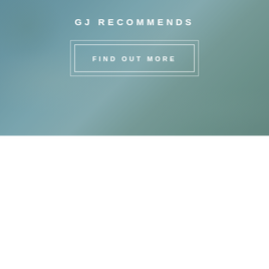[Figure (photo): Top half: teal/blue-green stone or agate texture background with 'GJ RECOMMENDS' title in white and a 'FIND OUT MORE' button with white double-border rectangle overlay]
GJ RECOMMENDS
FIND OUT MORE
[Figure (photo): Bottom half: light grey background with a dark black gift/jewelry box visible at top right, partially cropped, showing gold stripe and 'Geronimo Jones' branding text]
GIFT GUIDE
FIND OUT MORE